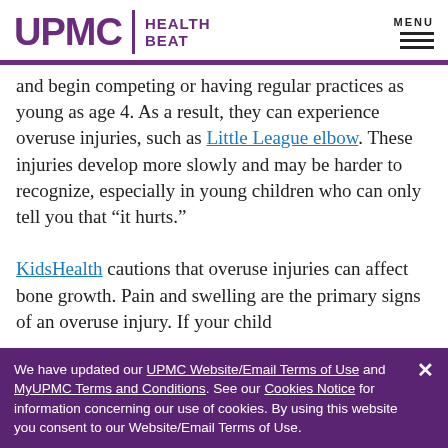UPMC HEALTH BEAT | MENU
and begin competing or having regular practices as young as age 4. As a result, they can experience overuse injuries, such as Little League elbow. These injuries develop more slowly and may be harder to recognize, especially in young children who can only tell you that “it hurts.”
KidsHealth cautions that overuse injuries can affect bone growth. Pain and swelling are the primary signs of an overuse injury. If your child
We have updated our UPMC Website/Email Terms of Use and MyUPMC Terms and Conditions. See our Cookies Notice for information concerning our use of cookies. By using this website you consent to our Website/Email Terms of Use.